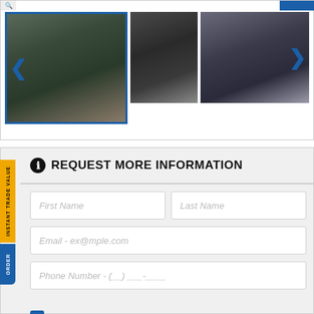[Figure (photo): Gallery of ATV vehicles showing three photos: front view of black ATV selected, side view of black ATV, and rear view of grey ATV. Navigation arrows visible.]
REQUEST MORE INFORMATION
First Name
Last Name
Email - ex@mple.com
Phone Number - (__)___-____
Subscribe to Newsletter